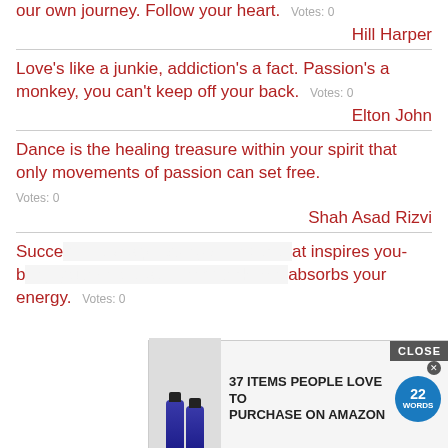our own journey. Follow your heart. Votes: 0
Hill Harper
Love's like a junkie, addiction's a fact. Passion's a monkey, you can't keep off your back. Votes: 0
Elton John
Dance is the healing treasure within your spirit that only movements of passion can set free. Votes: 0
Shah Asad Rizvi
Success means pursuing a career that inspires you-b... absorbs your energy. Votes: 0
Marin Alson
[Figure (screenshot): Advertisement overlay: '37 ITEMS PEOPLE LOVE TO PURCHASE ON AMAZON' with blue bottles image and 22 Words badge, with CLOSE button]